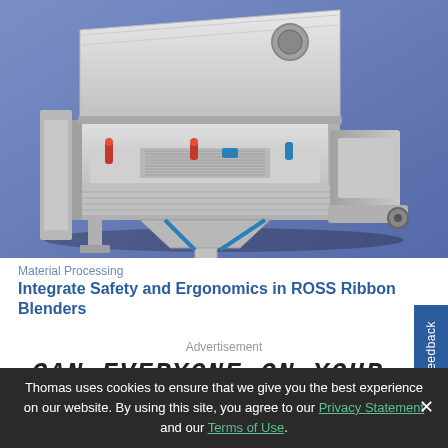[Figure (photo): Stainless steel ROSS Ribbon Blender industrial mixing machine photographed against a blue-purple gradient background. The machine shows the open top lid, ribbon mixing elements, control panel with red and blue handles, discharge hopper at the bottom, and a conveyor/hopper attachment on the right side.]
Material Processing
Integrate Safety and Ergonomics in ROSS Ribbon Blenders
Advertisement
CAN EVERYONE ON YOUR TEAM
Thomas uses cookies to ensure that we give you the best experience on our website. By using this site, you agree to our Privacy Statement and our Terms of Use.